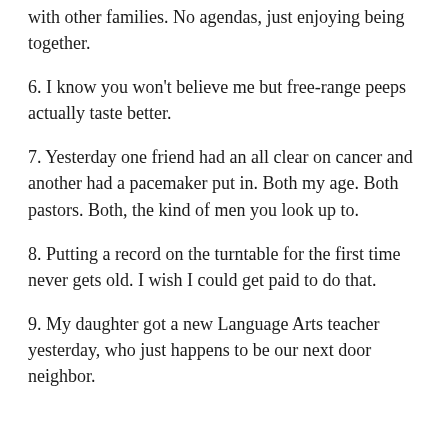with other families. No agendas, just enjoying being together.
6. I know you won't believe me but free-range peeps actually taste better.
7. Yesterday one friend had an all clear on cancer and another had a pacemaker put in. Both my age. Both pastors. Both, the kind of men you look up to.
8. Putting a record on the turntable for the first time never gets old. I wish I could get paid to do that.
9. My daughter got a new Language Arts teacher yesterday, who just happens to be our next door neighbor.